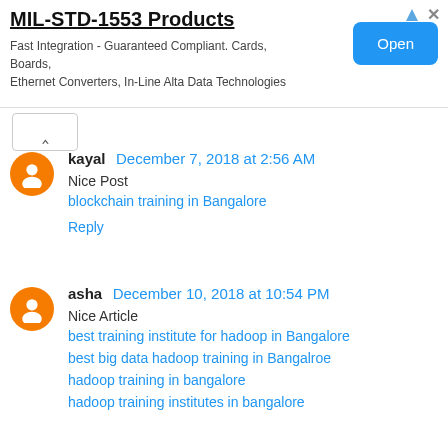[Figure (other): Advertisement banner for MIL-STD-1553 Products with Open button]
kayal  December 7, 2018 at 2:56 AM
Nice Post
blockchain training in Bangalore
Reply
asha  December 10, 2018 at 10:54 PM
Nice Article
best training institute for hadoop in Bangalore
best big data hadoop training in Bangalroe
hadoop training in bangalore
hadoop training institutes in bangalore